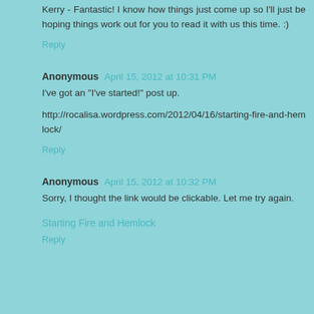Kerry - Fantastic! I know how things just come up so I'll just be hoping things work out for you to read it with us this time. :)
Reply
Anonymous April 15, 2012 at 10:31 PM
I've got an "I've started!" post up.
http://rocalisa.wordpress.com/2012/04/16/starting-fire-and-hemlock/
Reply
Anonymous April 15, 2012 at 10:32 PM
Sorry, I thought the link would be clickable. Let me try again.
Starting Fire and Hemlock
Reply